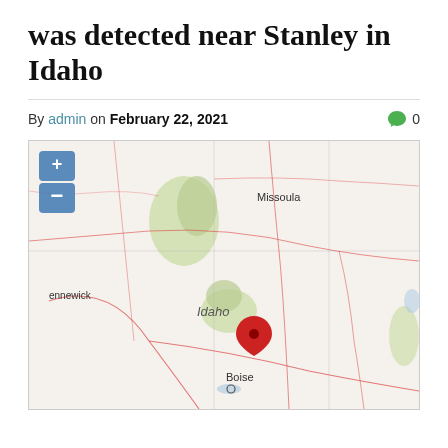was detected near Stanley in Idaho
By admin on February 22, 2021  0
[Figure (map): Interactive map showing the state of Idaho with a red location pin marker near Stanley, Idaho. Map shows surrounding region including cities Missoula, Boise, and ennewick (Kennewick), with green forested areas and red road lines. Map has zoom +/- controls in upper left corner.]